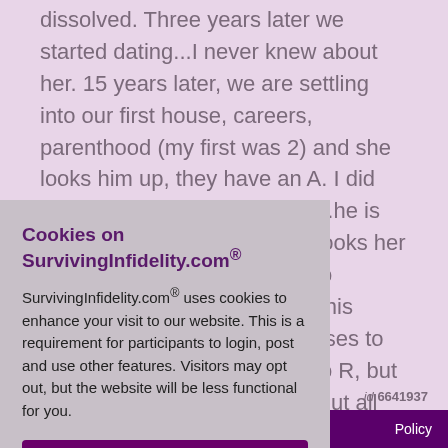dissolved. Three years later we started dating...I never knew about her. 15 years later, we are settling into our first house, careers, parenthood (my first was 2) and she looks him up, they have an A. I did .2009...he is ever) looks her nth into t who this confesses to rying to R, but ow about all trust him ecret all these
Cookies on SurvivingInfidelity.com®
SurvivingInfidelity.com® uses cookies to enhance your visit to our website. This is a requirement for participants to login, post and use other features. Visitors may opt out, but the website will be less functional for you.
accept
decline
about cookies
id 6641937
Policy